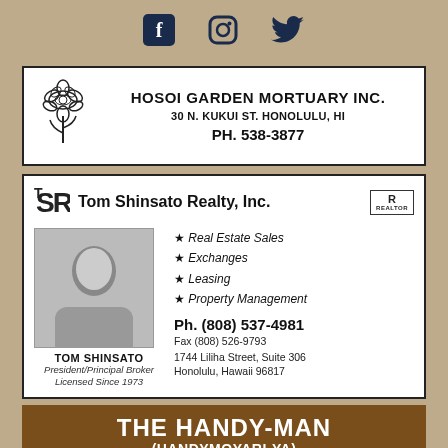[Figure (infographic): Social media icons: Facebook (f), Instagram (camera), Twitter (bird) in dark blue on textured background]
[Figure (infographic): Hosoi Garden Mortuary Inc. advertisement with flower logo, address and phone number]
[Figure (infographic): Tom Shinsato Realty, Inc. advertisement with logo, photo of Tom Shinsato, services list, and contact information]
THE HANDY-MAN (HANDYMOYARI-YA)